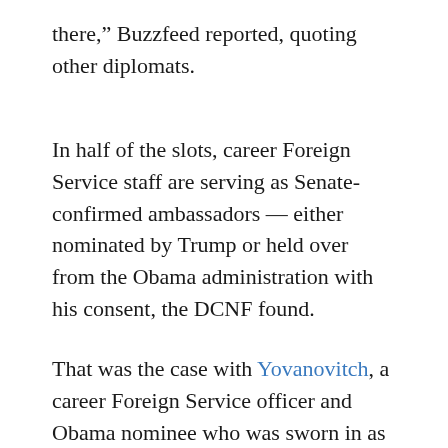there,” Buzzfeed reported, quoting other diplomats.
In half of the slots, career Foreign Service staff are serving as Senate-confirmed ambassadors — either nominated by Trump or held over from the Obama administration with his consent, the DCNF found.
That was the case with Yovanovitch, a career Foreign Service officer and Obama nominee who was sworn in as ambassador to Ukraine on Aug. 18, 2016, only months before Obama left office.